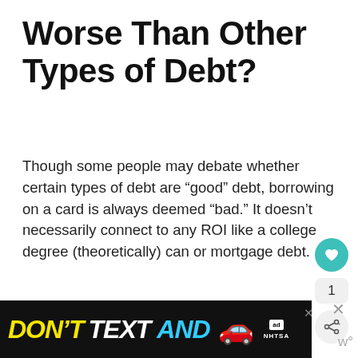Worse Than Other Types of Debt?
Though some people may debate whether certain types of debt are “good” debt, borrowing on a card is always deemed “bad.” It doesn’t necessarily connect to any ROI like a college degree (theoretically) can or mortgage debt.
[Figure (other): Advertisement banner: DON'T TEXT AND [car emoji] with ad badge and NHTSA logo on black background]